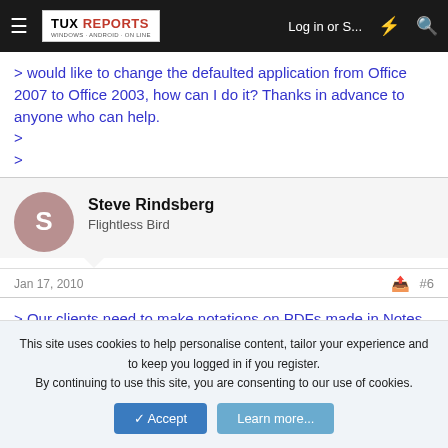TUX REPORTS | Log in or S... | [lightning icon] | [search icon]
> would like to change the defaulted application from Office 2007 to Office
> 2003, how can I do it? Thanks in advance to anyone who can help.
>
>
Steve Rindsberg
Flightless Bird
Jan 17, 2010
#6
> Our clients need to make notations on PDFs made in Notes
This site uses cookies to help personalise content, tailor your experience and to keep you logged in if you register.
By continuing to use this site, you are consenting to our use of cookies.
Accept | Learn more...